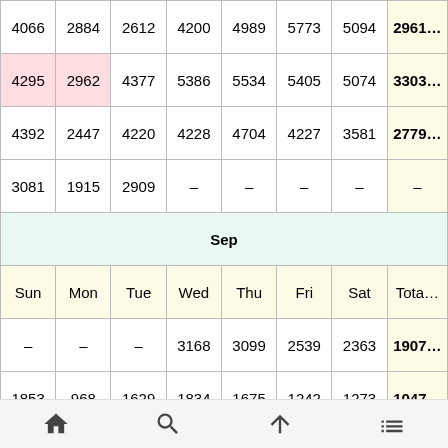| Sun | Mon | Tue | Wed | Thu | Fri | Sat | Total |
| --- | --- | --- | --- | --- | --- | --- | --- |
| 4066 | 2884 | 2612 | 4200 | 4989 | 5773 | 5094 | 2961… |
| 4295 | 2962 | 4377 | 5386 | 5534 | 5405 | 5074 | 3303… |
| 4392 | 2447 | 4220 | 4228 | 4704 | 4227 | 3581 | 2779… |
| 3081 | 1915 | 2909 | – | – | – | – | – |
| Sep |  |  |  |  |  |  |  |
| Sun | Mon | Tue | Wed | Thu | Fri | Sat | Total |
| – | – | – | 3168 | 3099 | 2539 | 2363 | 1907… |
| 1853 | 968 | 1629 | 1834 | 1675 | 1242 | 1273 | 1047… |
| 1067 | 611 | 1004 | 1052 | 831 | 782 | 862 | 6209… |
| 565 | 302 | – | – | – | – | – | – |
| – | – | – | – | – | – | – | – |